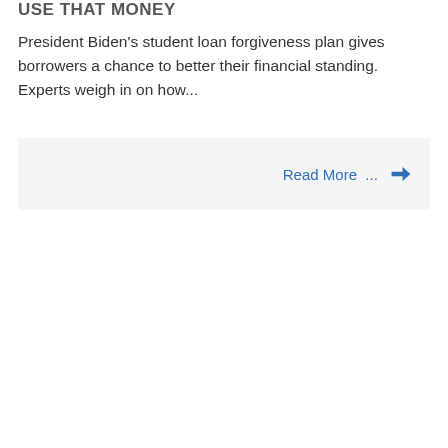USE THAT MONEY
President Biden's student loan forgiveness plan gives borrowers a chance to better their financial standing. Experts weigh in on how...
Read More ...